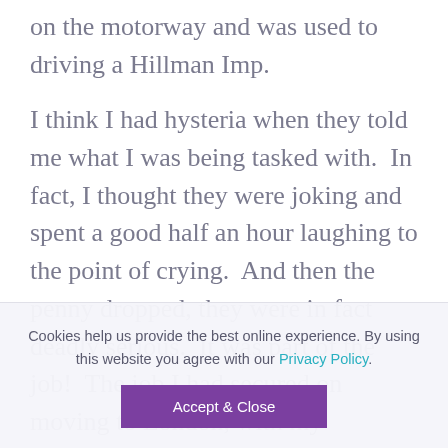on the motorway and was used to driving a Hillman Imp.

I think I had hysteria when they told me what I was being tasked with.  In fact, I thought they were joking and spent a good half an hour laughing to the point of crying.  And then the penny dropped, they were in fact deadly serious.  It was part of the job!  The job I had secured on moving to London, with my
Cookies help us provide the best online experience. By using this website you agree with our Privacy Policy.
Accept & Close